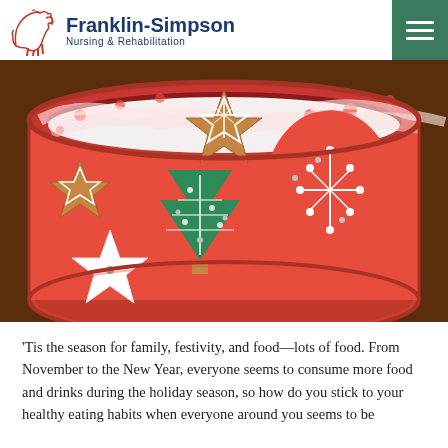Franklin-Simpson Nursing & Rehabilitation
[Figure (photo): A red tin filled with decorated Christmas cookies including star-shaped, tree-shaped, and mitten-shaped cookies with white, green, and red icing on polka-dot tissue paper.]
'Tis the season for family, festivity, and food—lots of food. From November to the New Year, everyone seems to consume more food and drinks during the holiday season, so how do you stick to your healthy eating habits when everyone around you seems to be